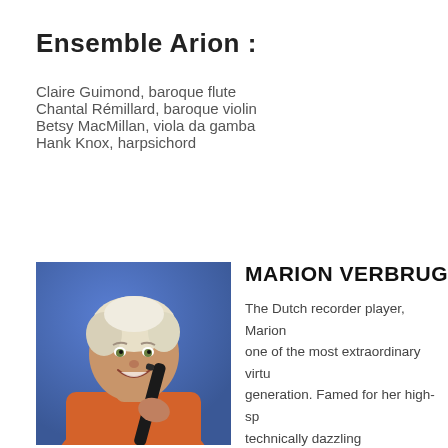Ensemble Arion :
Claire Guimond, baroque flute
Chantal Rémillard, baroque violin
Betsy MacMillan, viola da gamba
Hank Knox, harpsichord
[Figure (photo): Portrait photo of Marion Verbruggen, a woman with short light hair wearing an orange shirt and holding a recorder instrument, against a blue background]
MARION VERBRUGG
The Dutch recorder player, Marion one of the most extraordinary virtu generation. Famed for her high-sp technically dazzling performances, an international reputation as a ma her instrument throughout North America, Europe, Africa, J Australia. Enamored of the recorder from an early age, she Amsterdam Conservatory and the Royal Conservatory in Th